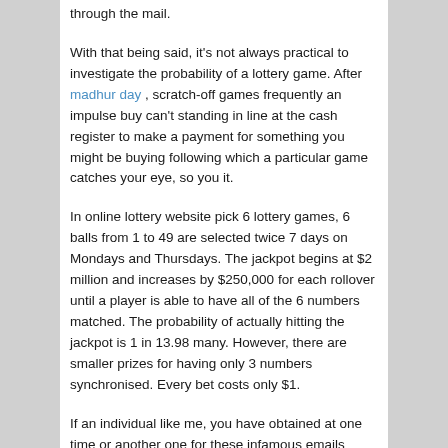through the mail.
With that being said, it's not always practical to investigate the probability of a lottery game. After madhur day , scratch-off games frequently an impulse buy can't standing in line at the cash register to make a payment for something you might be buying following which a particular game catches your eye, so you it.
In online lottery website pick 6 lottery games, 6 balls from 1 to 49 are selected twice 7 days on Mondays and Thursdays. The jackpot begins at $2 million and increases by $250,000 for each rollover until a player is able to have all of the 6 numbers matched. The probability of actually hitting the jackpot is 1 in 13.98 many. However, there are smaller prizes for having only 3 numbers synchronised. Every bet costs only $1.
If an individual like me, you have obtained at one time or another one for these infamous emails telling you that you've got won fantastic amount of income in a lottery a person simply never even entered about. It is these kinds